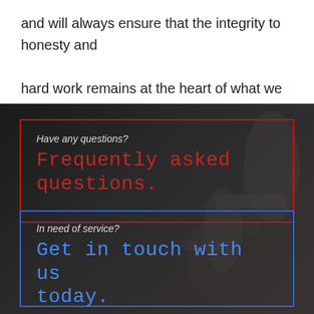and will always ensure that the integrity to honesty and hard work remains at the heart of what we stand for.
[Figure (infographic): Dark gym background with two call-to-action boxes. Red bordered box: 'Have any questions? Frequently asked questions.' Blue bordered box: 'In need of service? Get in touch with us today.']